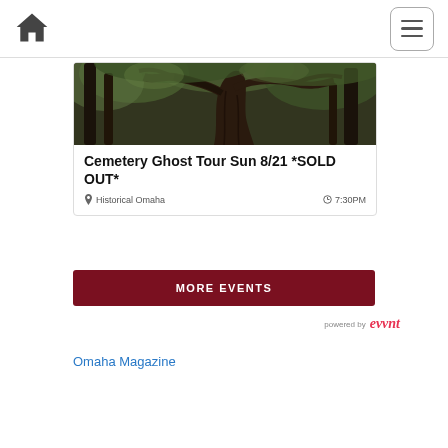Home | Menu
[Figure (photo): Outdoor nature photo showing a large twisted tree trunk with gnarled bark, surrounded by trees and green foliage]
Cemetery Ghost Tour Sun 8/21 *SOLD OUT*
Historical Omaha   7:30PM
MORE EVENTS
powered by evvnt
Omaha Magazine